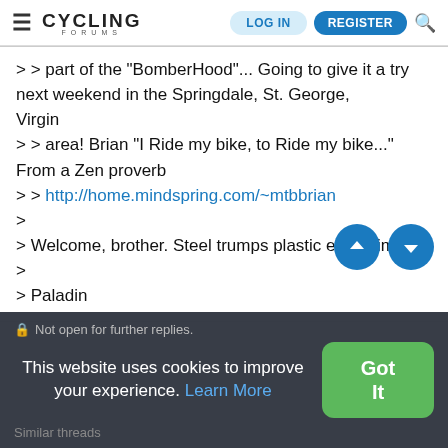CYCLING FORUMS — LOG IN | REGISTER
> > part of the "BomberHood"... Going to give it a try next weekend in the Springdale, St. George, Virgin
> > area! Brian "I Ride my bike, to Ride my bike..." From a Zen proverb
> > http://home.mindspring.com/~mtbbrian
>
> Welcome, brother. Steel trumps plastic every time.
>
> Paladin
Not open for further replies.
This website uses cookies to improve your experience. Learn More
Similar threads